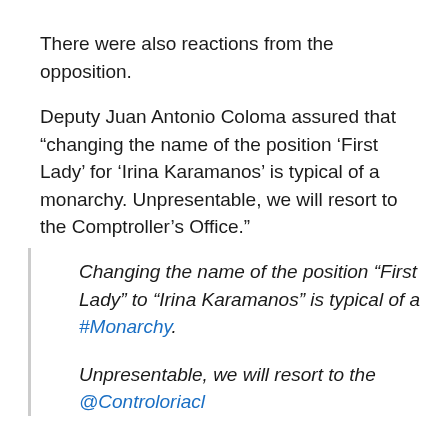There were also reactions from the opposition.
Deputy Juan Antonio Coloma assured that “changing the name of the position ‘First Lady’ for ‘Irina Karamanos’ is typical of a monarchy. Unpresentable, we will resort to the Comptroller’s Office.”
Changing the name of the position “First Lady” to “Irina Karamanos” is typical of a #Monarchy.

Unpresentable, we will resort to the @Controloriacl